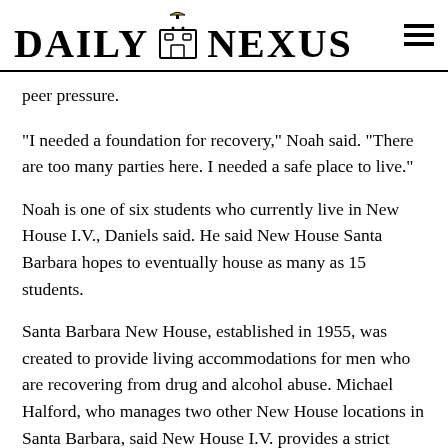DAILY NEXUS
peer pressure.
“I needed a foundation for recovery,” Noah said. “There are too many parties here. I needed a safe place to live.”
Noah is one of six students who currently live in New House I.V., Daniels said. He said New House Santa Barbara hopes to eventually house as many as 15 students.
Santa Barbara New House, established in 1955, was created to provide living accommodations for men who are recovering from drug and alcohol abuse. Michael Halford, who manages two other New House locations in Santa Barbara, said New House I.V. provides a strict routine to help its residents — most of whom are